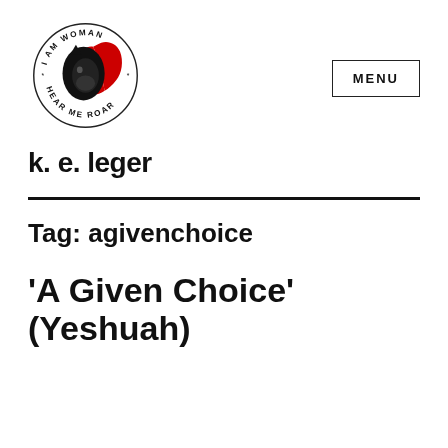[Figure (logo): Circular logo showing a lion silhouette in black and red with text 'I AM WOMAN HEAR ME ROAR' around the circle with asterisks]
MENU
k. e. leger
Tag: agivenchoice
'A Given Choice' (Yeshuah)